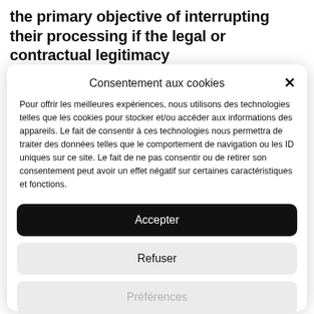the primary objective of interrupting their processing if the legal or contractual legitimacy
Consentement aux cookies
Pour offrir les meilleures expériences, nous utilisons des technologies telles que les cookies pour stocker et/ou accéder aux informations des appareils. Le fait de consentir à ces technologies nous permettra de traiter des données telles que le comportement de navigation ou les ID uniques sur ce site. Le fait de ne pas consentir ou de retirer son consentement peut avoir un effet négatif sur certaines caractéristiques et fonctions.
Accepter
Refuser
Préférences
privacy policy